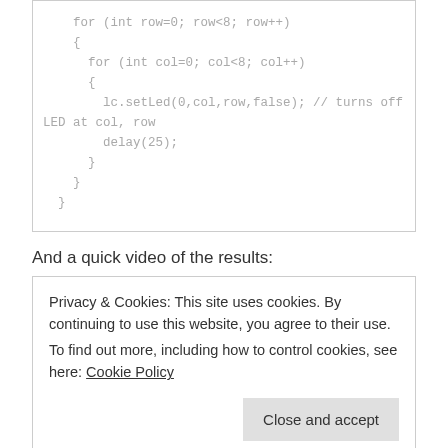for (int row=0; row<8; row++)
    {
      for (int col=0; col<8; col++)
      {
        lc.setLed(0,col,row,false); // turns off LED at col, row
        delay(25);
      }
    }
  }
And a quick video of the results:
Privacy & Cookies: This site uses cookies. By continuing to use this website, you agree to their use.
To find out more, including how to control cookies, see here: Cookie Policy
[Figure (photo): Bottom strip of a photo showing electronic circuit board components with colorful wires on a green PCB background]